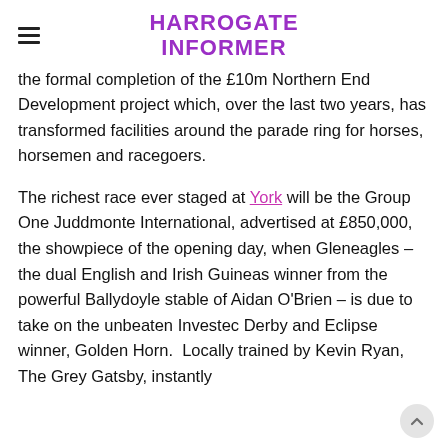HARROGATE INFORMER
the formal completion of the £10m Northern End Development project which, over the last two years, has transformed facilities around the parade ring for horses, horsemen and racegoers.
The richest race ever staged at York will be the Group One Juddmonte International, advertised at £850,000, the showpiece of the opening day, when Gleneagles – the dual English and Irish Guineas winner from the powerful Ballydoyle stable of Aidan O'Brien – is due to take on the unbeaten Investec Derby and Eclipse winner, Golden Horn.  Locally trained by Kevin Ryan, The Grey Gatsby, instantly